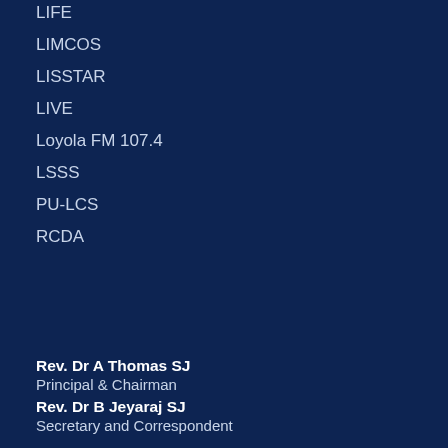LIFE
LIMCOS
LISSTAR
LIVE
Loyola FM 107.4
LSSS
PU-LCS
RCDA
Rev. Dr A Thomas SJ
Principal & Chairman
Rev. Dr B Jeyaraj SJ
Secretary and Correspondent